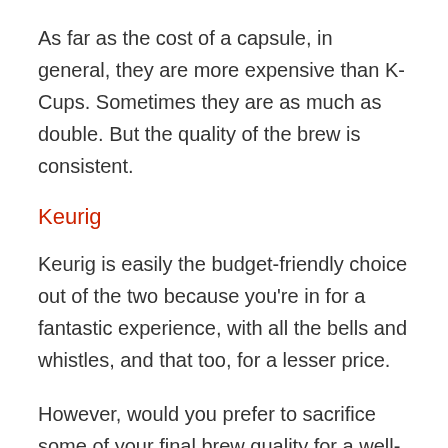As far as the cost of a capsule, in general, they are more expensive than K-Cups. Sometimes they are as much as double. But the quality of the brew is consistent.
Keurig
Keurig is easily the budget-friendly choice out of the two because you're in for a fantastic experience, with all the bells and whistles, and that too, for a lesser price.
However, would you prefer to sacrifice some of your final brew quality for a well-rounded brand and an affordable price?